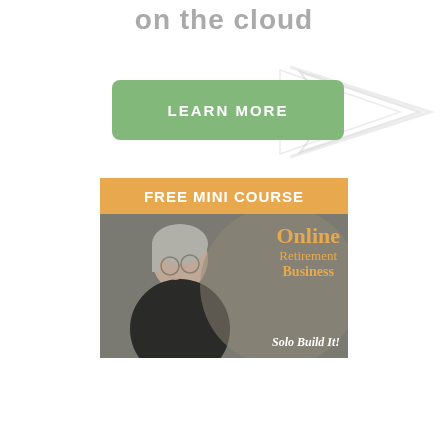on the cloud
[Figure (illustration): Green rounded rectangle button with text LEARN MORE in white uppercase letters, with a light gray chevron/arrow shape partially visible to the right]
[Figure (illustration): Advertisement banner for Solo Build It! Free Mini Course - Online Retirement Business. Shows an orange/amber header bar with bold white text FREE MINI COURSE, below which is a photo of a smiling older woman with gray hair and glasses. On the right side text reads Online Retirement Business in gold/orange color, and at the bottom Solo Build It! in white italic text on dark background.]